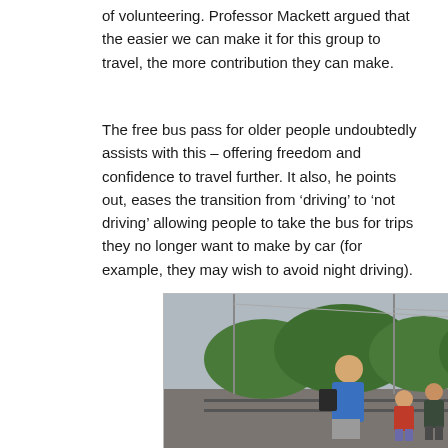of volunteering. Professor Mackett argued that the easier we can make it for this group to travel, the more contribution they can make.
The free bus pass for older people undoubtedly assists with this – offering freedom and confidence to travel further. It also, he points out, eases the transition from 'driving' to 'not driving' allowing people to take the bus for trips they no longer want to make by car (for example, they may wish to avoid night driving).
[Figure (photo): A group of people including adults and children standing on a train platform watching a green and yellow train arriving. Overhead electric lines visible. Trees in background.]